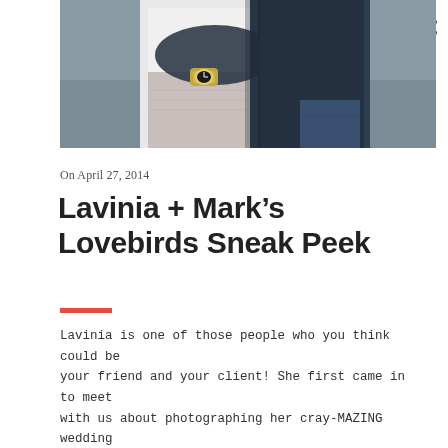[Figure (photo): A couple embracing — a woman in a white top and light skirt, a man in a dark navy blazer and jeans, arms around each other, partial view showing torsos and arms with a watch visible.]
On April 27, 2014
Lavinia + Mark’s Lovebirds Sneak Peek
Lavinia is one of those people who you think could be your friend and your client! She first came in to meet with us about photographing her cray-MAZING wedding to Mark …